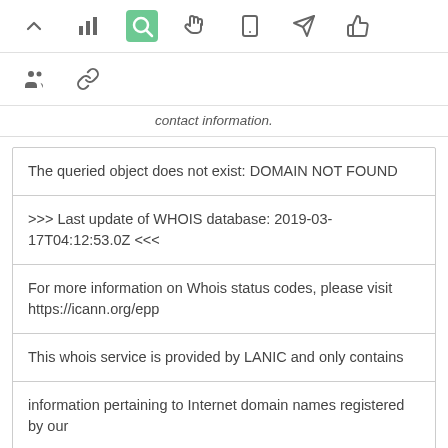[Figure (screenshot): Navigation toolbar with icons: up arrow, bar chart, search (highlighted green), hand/cursor, mobile, send/navigation, thumbs up]
[Figure (screenshot): Secondary toolbar with people/group icon and link/chain icon]
contact information.
| The queried object does not exist: DOMAIN NOT FOUND |
| >>> Last update of WHOIS database: 2019-03-17T04:12:53.0Z <<< |
| For more information on Whois status codes, please visit https://icann.org/epp |
| This whois service is provided by LANIC and only contains |
| information pertaining to Internet domain names registered by our |